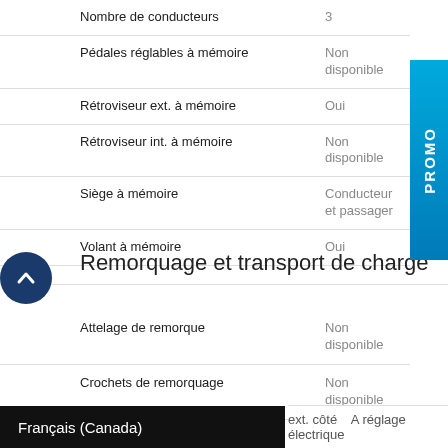| Feature | Value |
| --- | --- |
| Nombre de conducteurs | 3 |
| Pédales réglables à mémoire | Non disponible |
| Rétroviseur ext. à mémoire | Oui |
| Rétroviseur int. à mémoire | Non disponible |
| Siège à mémoire | Conducteur et passager |
| Volant à mémoire | Oui |
Remorquage et transport de charge
| Feature | Value |
| --- | --- |
| Attelage de remorque | Non disponible |
| Crochets de remorquage | Non disponible |
| dispositif anti-louvoiement de la remorque | Non disponible |
| points d'arrimage dans l'espace utilitaire | Points d'arrimage dans l'espace utilitaire |
Français (Canada)
ext. côté   A réglage électrique